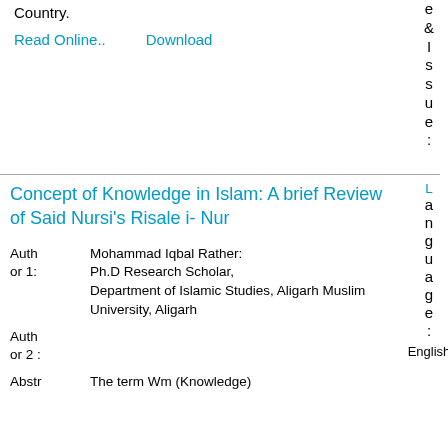Country.
Read Online..   Download
e & I s s u e :
Concept of Knowledge in Islam: A brief Review of Said Nursi’s Risale i- Nur
Author 1: Mohammad Iqbal Rather: Ph.D Research Scholar, Department of Islamic Studies, Aligarh Muslim University, Aligarh
Language: English
Author 2 :
Abstr The term Wm (Knowledge)